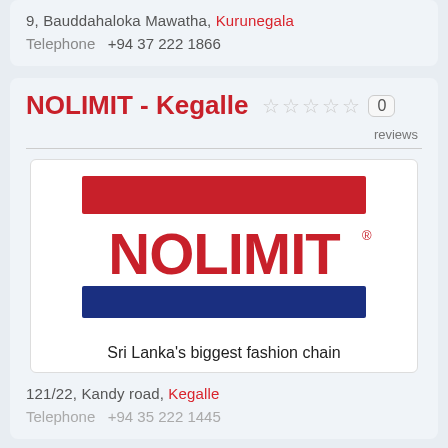9, Bauddahaloka Mawatha, Kurunegala
Telephone  +94 37 222 1866
NOLIMIT - Kegalle
0 reviews
[Figure (logo): NOLIMIT logo with red bar on top, blue NOLIMIT text, blue bar on bottom, tagline: Sri Lanka's biggest fashion chain]
121/22, Kandy road, Kegalle
Telephone  +94 35 222 1445